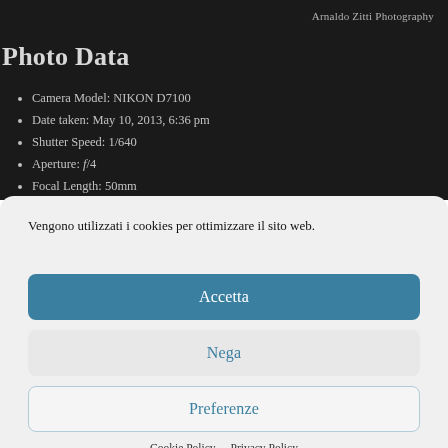Arnaldo Zitti Photography
Photo Data
Camera Model: NIKON D7100
Date taken: May 10, 2013, 6:36 pm
Shutter Speed: 1/640
Aperture: f/4
Focal Length: 50mm
Vengono utilizzati i cookies per ottimizzare il sito web.
Accetta
Nega
Preferenze
Cookie Policy   Privacy Policy